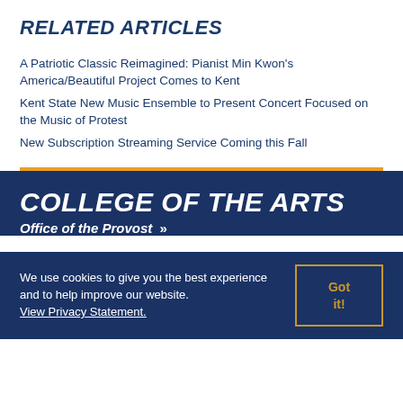RELATED ARTICLES
A Patriotic Classic Reimagined: Pianist Min Kwon's America/Beautiful Project Comes to Kent
Kent State New Music Ensemble to Present Concert Focused on the Music of Protest
New Subscription Streaming Service Coming this Fall
COLLEGE OF THE ARTS
Office of the Provost »
We use cookies to give you the best experience and to help improve our website. View Privacy Statement.